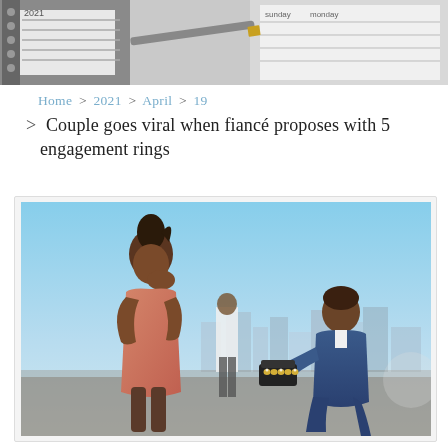[Figure (photo): Header image showing a planner/notebook and calendar pages in the background]
Home > 2021 > April > 19
> Couple goes viral when fiancé proposes with 5 engagement rings
[Figure (photo): A man on one knee proposing to a woman with 5 engagement rings in a black box. The woman in a pink/coral dress is leaning forward with her hand over her mouth in surprise. City skyline visible in the background under a blue sky.]